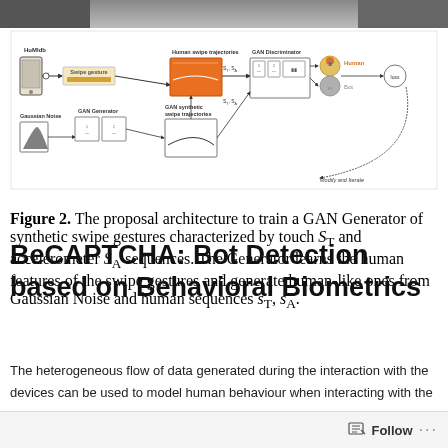[Figure (schematic): GAN architecture diagram showing HuMIdb smartphone, Swipe gesture block, Human swipe trajectories (orange block, S_T and S_A), GAN Discriminator with human/bot output, Gaussian Noise input, GAN Generator blocks, and GAN synthetic swipe trajectories. Arrows show flow; 'Modify and Iterate' feedback loop at bottom right.]
Figure 2. The proposal architecture to train a GAN Generator of synthetic swipe gestures characterized by touch ST and accelerometer SA sequences. The Generator learns the human features of the swipe gestures and generate human-like ones from Gaussian Noise and human sequences sT, sA.
BeCAPTCHA: Bot Detection based on Behavioral Biometrics
The heterogeneous flow of data generated during the interaction with the devices can be used to model human behaviour when interacting with the technology and improve bot detection algorithms.